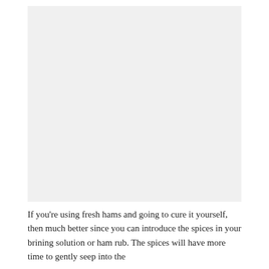[Figure (photo): A large image placeholder occupying the upper portion of the page.]
If you're using fresh hams and going to cure it yourself, then much better since you can introduce the spices in your brining solution or ham rub. The spices will have more time to gently seep into the